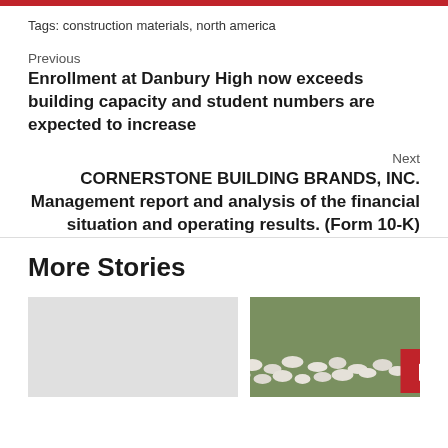Tags: construction materials, north america
Previous
Enrollment at Danbury High now exceeds building capacity and student numbers are expected to increase
Next
CORNERSTONE BUILDING BRANDS, INC. Management report and analysis of the financial situation and operating results. (Form 10-K)
More Stories
[Figure (photo): Light gray placeholder image for a story card]
[Figure (photo): Photo of a flock of sheep grazing on green grass, with a red overlay box in bottom right corner]